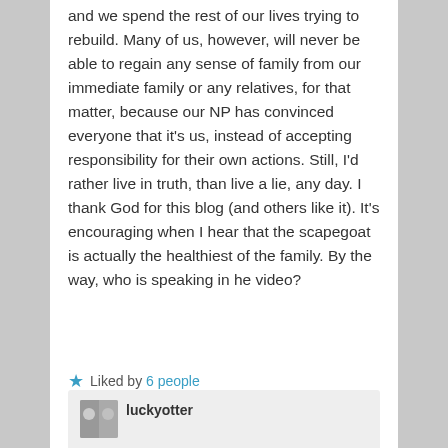and we spend the rest of our lives trying to rebuild. Many of us, however, will never be able to regain any sense of family from our immediate family or any relatives, for that matter, because our NP has convinced everyone that it's us, instead of accepting responsibility for their own actions. Still, I'd rather live in truth, than live a lie, any day. I thank God for this blog (and others like it). It's encouraging when I hear that the scapegoat is actually the healthiest of the family. By the way, who is speaking in he video?
Liked by 6 people
luckyotter